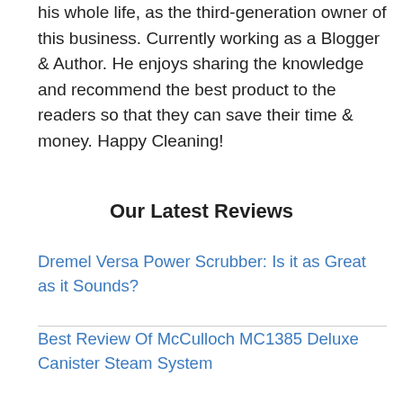his whole life, as the third-generation owner of this business. Currently working as a Blogger & Author. He enjoys sharing the knowledge and recommend the best product to the readers so that they can save their time & money. Happy Cleaning!
Our Latest Reviews
Dremel Versa Power Scrubber: Is it as Great as it Sounds?
Best Review Of McCulloch MC1385 Deluxe Canister Steam System